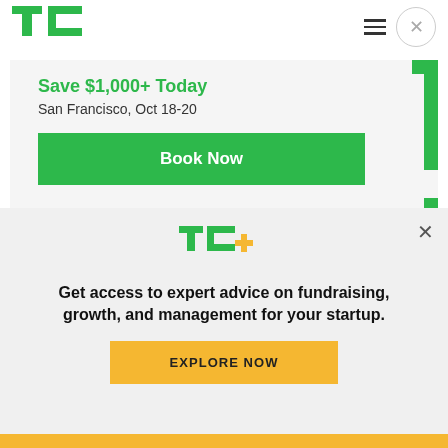[Figure (logo): TechCrunch TC green logo top left]
[Figure (logo): Hamburger menu icon and circular close button top right]
[Figure (infographic): Ad banner with green corner brackets: Save $1,000+ Today, San Francisco Oct 18-20, Book Now button]
Developers' concern over Apple's alleged anti-competitive behavior with regard to how it runs the
[Figure (logo): TC+ logo in green and yellow]
Get access to expert advice on fundraising, growth, and management for your startup.
[Figure (infographic): EXPLORE NOW yellow button]
[Figure (infographic): Yellow/gold bottom strip]